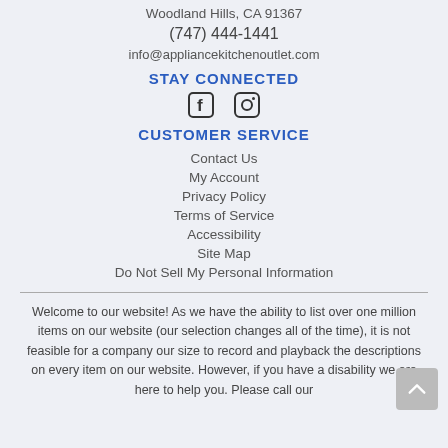Woodland Hills, CA 91367
(747) 444-1441
info@appliancekitchenoutlet.com
STAY CONNECTED
[Figure (illustration): Facebook and Instagram social media icons]
CUSTOMER SERVICE
Contact Us
My Account
Privacy Policy
Terms of Service
Accessibility
Site Map
Do Not Sell My Personal Information
Welcome to our website! As we have the ability to list over one million items on our website (our selection changes all of the time), it is not feasible for a company our size to record and playback the descriptions on every item on our website. However, if you have a disability we are here to help you. Please call our